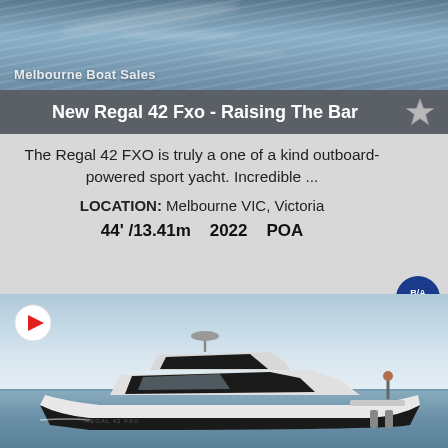[Figure (photo): Water/ocean background image with watermark text 'Melbourne Boat Sales' in bottom left corner]
New Regal 42 Fxo - Raising The Bar
The Regal 42 FXO is truly a one of a kind outboard-powered sport yacht. Incredible ...
LOCATION:  Melbourne VIC, Victoria
44' /13.41m     2022     POA
[Figure (photo): Side profile photo of the Regal 42 FXO sport yacht on water, white and black hull, with a person visible on the stern. A red play button icon is overlaid in the top-left corner.]